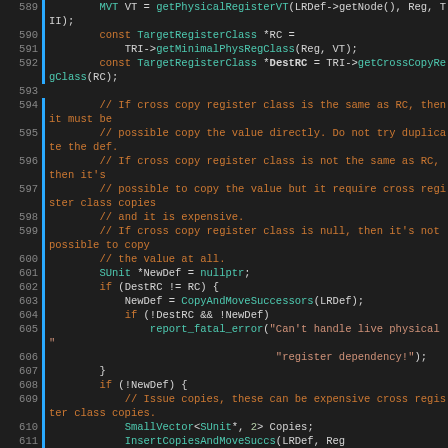[Figure (screenshot): Source code editor showing C++ code lines 589-611, dark theme with syntax highlighting. Green/teal for types and function names, orange/red for keywords and comments, white for identifiers, blue gutter markers on most lines.]